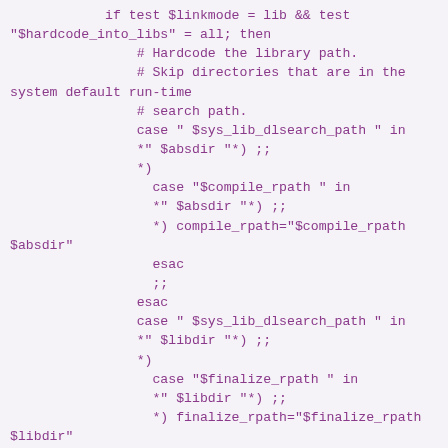if test $linkmode = lib && test
"$hardcode_into_libs" = all; then
                # Hardcode the library path.
                # Skip directories that are in the
system default run-time
                # search path.
                case " $sys_lib_dlsearch_path " in
                *" $absdir "*) ;;
                *)
                  case "$compile_rpath " in
                  *" $absdir "*) ;;
                  *) compile_rpath="$compile_rpath
$absdir"
                  esac
                  ;;
                esac
                case " $sys_lib_dlsearch_path " in
                *" $libdir "*) ;;
                *)
                  case "$finalize_rpath " in
                  *" $libdir "*) ;;
                  *) finalize_rpath="$finalize_rpath
$libdir"
                  esac
                  ;;
                esac
        fi